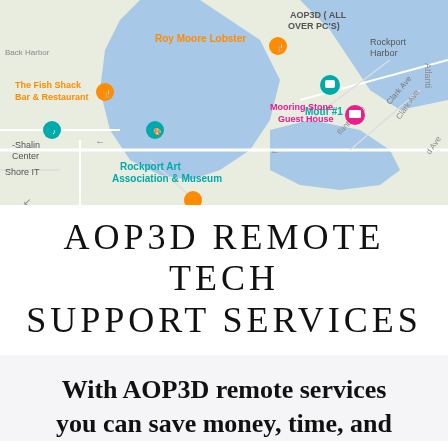[Figure (map): Google Maps screenshot showing Rockport Harbor area with labels including Roy Moore Lobster, AOP3D (All Over PC's), Rockport Harbor, The Fish Shack Bar & Restaurant, Mooring Stone Guest House, Motif #1, Rockport Art Association & Museum, Back Harbor, Shalin Center, Atlantic Ave, Clark Ave, Shore IT]
AOP3D REMOTE TECH SUPPORT SERVICES
With AOP3D remote services you can save money, time, and